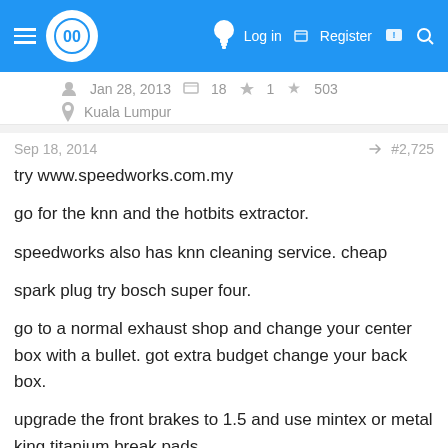Navigation bar with logo, lightbulb icon, Log in, Register, and search icons
Jan 28, 2013  18  1  503
Kuala Lumpur
Sep 18, 2014  #2,725
try www.speedworks.com.my

go for the knn and the hotbits extractor.

speedworks also has knn cleaning service. cheap

spark plug try bosch super four.

go to a normal exhaust shop and change your center box with a bullet. got extra budget change your back box.

upgrade the front brakes to 1.5 and use mintex or metal king titanium break pads.

have fun.